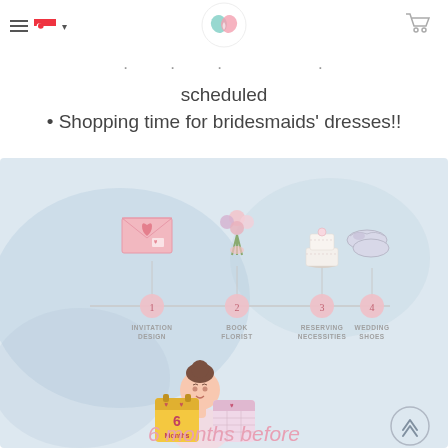Navigation header with hamburger menu, Singapore flag, dropdown, center logo, and cart icon
scheduled
• Shopping time for bridesmaids' dresses!!
[Figure (infographic): Wedding planning infographic on a soft blue watercolor background. A horizontal timeline with 4 steps: 1) Invitation Design (envelope with heart icon), 2) Book Florist (flower bouquet icon), 3) Reserving Necessities (wedding cake icon), 4) Wedding Shoes (ballet flats icon). Pink numbered circles on the timeline. Below the timeline, an illustrated bride figure with brown hair bun, holding a '6 Months' calendar. A second calendar (pink grid) beside her. A pink circular back-to-top arrow button in bottom right.]
6 months before